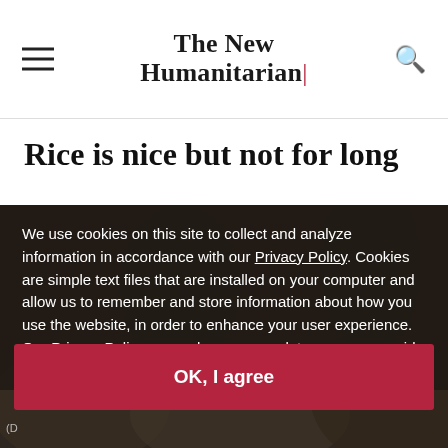The New Humanitarian
Rice is nice but not for long
[Figure (photo): Photo of rice or grain sacks, partially visible behind cookie consent overlay]
We use cookies on this site to collect and analyze information in accordance with our Privacy Policy. Cookies are simple text files that are installed on your computer and allow us to remember and store information about how you use the website, in order to enhance your user experience. Our Privacy Policy covers how we use data you may provide to us by visiting our website or registering as a subscriber. By continuing to use this website, you give your consent to our Privacy Policy and to our use of cookies.
OK, I agree
(D